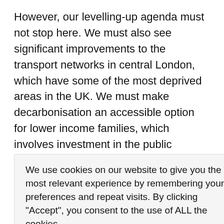However, our levelling-up agenda must not stop here. We must also see significant improvements to the transport networks in central London, which have some of the most deprived areas in the UK. We must make decarbonisation an accessible option for lower income families, which involves investment in the public transport network, including step free access for stations such as Ladbroke
We use cookies on our website to give you the most relevant experience by remembering your preferences and repeat visits. By clicking "Accept", you consent to the use of ALL the cookies.
Do not sell my personal information.
an internal combustion engine ending by 2028. We are